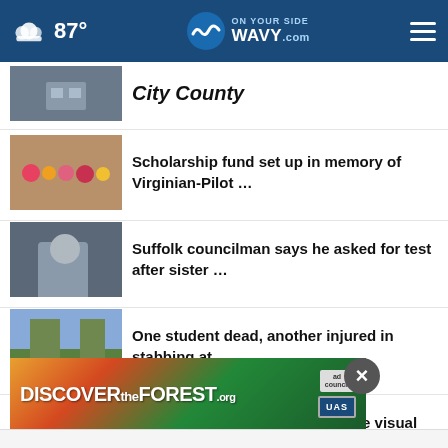87° WAVY.com On Your Side
City County
Scholarship fund set up in memory of Virginian-Pilot …
Suffolk councilman says he asked for test after sister …
One student dead, another injured in stabbing at …
Portsmouth educator offers more visual arts opportunities …
Camden Co. Schools make security updates for new …
[Figure (screenshot): Advertisement banner: DISCOVERtheFOREST.org with Ad Council and USDA logos]